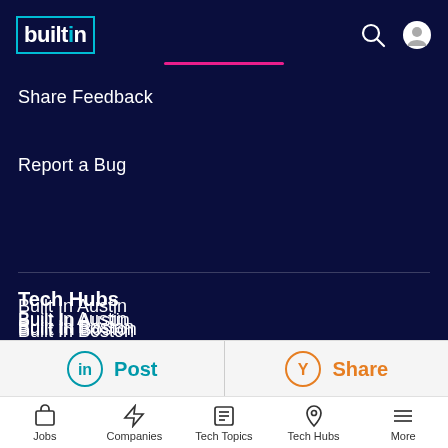[Figure (logo): built in logo with cyan border box]
Share Feedback
Report a Bug
Browse Jobs
Tech Hubs
Built In Austin
Built In Boston
[Figure (infographic): LinkedIn Post button and Y Combinator Share button in a share bar]
Jobs  Companies  Tech Topics  Tech Hubs  More